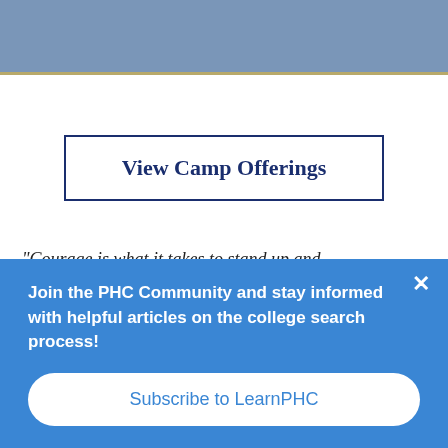View Camp Offerings
“Courage is what it takes to stand up and
Join the PHC Community and stay informed with helpful articles on the college search process!
Subscribe to LearnPHC